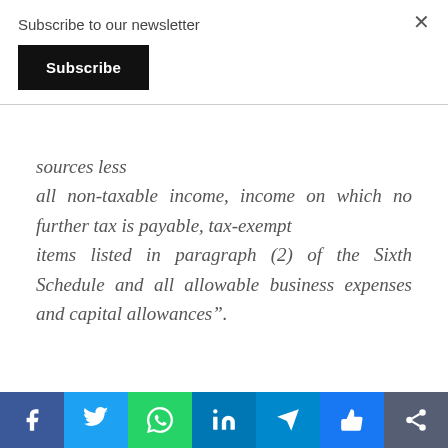Subscribe to our newsletter
Subscribe
sources less
all non-taxable income, income on which no further tax is payable, tax-exempt
items listed in paragraph (2) of the Sixth Schedule and all allowable business expenses and capital allowances”.
Social share bar: Facebook, Twitter, WhatsApp, LinkedIn, Telegram, Like, Share